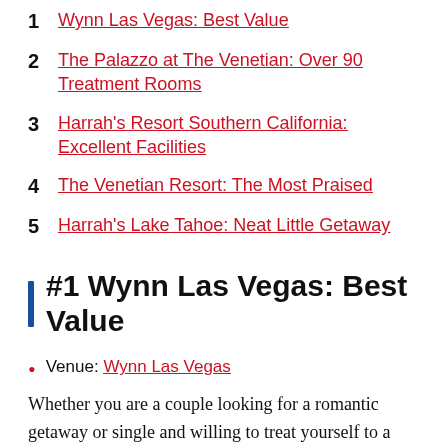1 Wynn Las Vegas: Best Value
2 The Palazzo at The Venetian: Over 90 Treatment Rooms
3 Harrah's Resort Southern California: Excellent Facilities
4 The Venetian Resort: The Most Praised
5 Harrah's Lake Tahoe: Neat Little Getaway
#1 Wynn Las Vegas: Best Value
Venue: Wynn Las Vegas
Whether you are a couple looking for a romantic getaway or single and willing to treat yourself to a well-deserved rest, Wynn Las Vegas will offer an